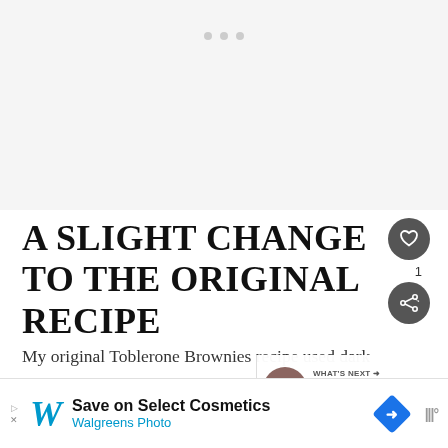[Figure (photo): Light grey image placeholder area with three dots (carousel indicators) near the top center]
A SLIGHT CHANGE TO THE ORIGINAL RECIPE
My original Toblerone Brownies recipe used dark Toblerone at its core. But this seems to have been  get hold of in recen…
[Figure (other): What's Next widget showing thumbnail and text 'Autumn Pear and Walnut...']
[Figure (other): Walgreens Photo advertisement banner: Save on Select Cosmetics]